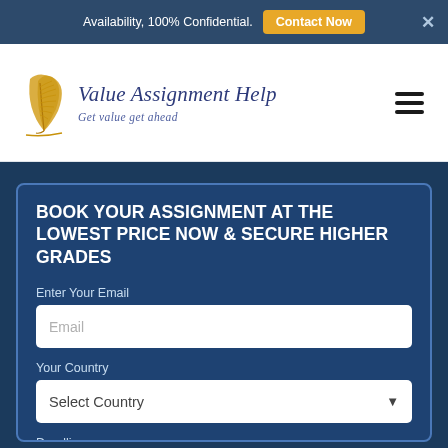Availability, 100% Confidential. Contact Now
[Figure (logo): Value Assignment Help logo with golden feather quill and text 'Value Assignment Help - Get value get ahead']
BOOK YOUR ASSIGNMENT AT THE LOWEST PRICE NOW & SECURE HIGHER GRADES
Enter Your Email
Email
Your Country
Select Country
Deadline